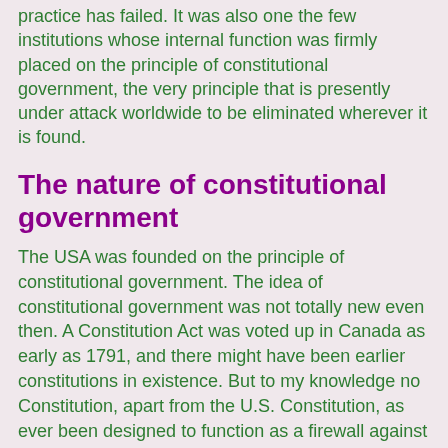practice has failed. It was also one the few institutions whose internal function was firmly placed on the principle of constitutional government, the very principle that is presently under attack worldwide to be eliminated wherever it is found.
The nature of constitutional government
The USA was founded on the principle of constitutional government. The idea of constitutional government was not totally new even then. A Constitution Act was voted up in Canada as early as 1791, and there might have been earlier constitutions in existence. But to my knowledge no Constitution, apart from the U.S. Constitution, as ever been designed to function as a firewall against imperial rule, the intention by which the U.S. Constitution became the greatest firewall ever erected for the defense of individuals, institutions, and nations in the war of empire versus civilization. Few governments in the world, if any, are built on that kind of platform